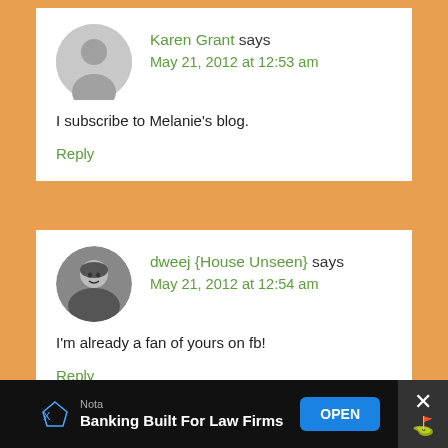Karen Grant says
May 21, 2012 at 12:53 am
I subscribe to Melanie's blog.
Reply
dweej {House Unseen} says
May 21, 2012 at 12:54 am
I'm already a fan of yours on fb!
Reply
Nota
Banking Built For Law Firms